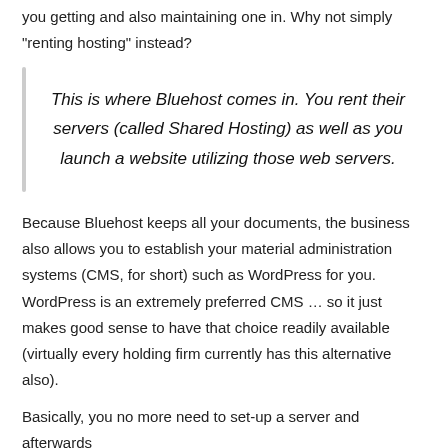you getting and also maintaining one in. Why not simply "renting hosting" instead?
This is where Bluehost comes in. You rent their servers (called Shared Hosting) as well as you launch a website utilizing those web servers.
Because Bluehost keeps all your documents, the business also allows you to establish your material administration systems (CMS, for short) such as WordPress for you. WordPress is an extremely preferred CMS … so it just makes good sense to have that choice readily available (virtually every holding firm currently has this alternative also).
Basically, you no more need to set-up a server and afterwards